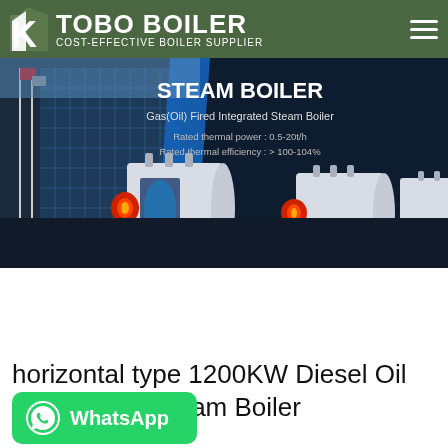[Figure (logo): TOBO BOILER logo with green background, white stylized flame/boiler icon on left, bold white text TOBO BOILER and subtitle COST-EFFECTIVE BOILER SUPPLIER]
[Figure (photo): Steam boiler product banner on dark navy background. Left side shows industrial building with flags. Right side shows text: STEAM BOILER, Gas(Oil) Fired Integrated Steam Boiler, Rated thermal power: 0.5-20t/h, Rated thermal efficiency: >100-104%. Bottom shows three horizontal gas-fired steam boiler units in white and blue with red burners.]
horizontal type 1200KW Diesel Oil steam Boiler
[Figure (logo): WhatsApp button - green rounded rectangle with phone icon and WhatsApp text in white]